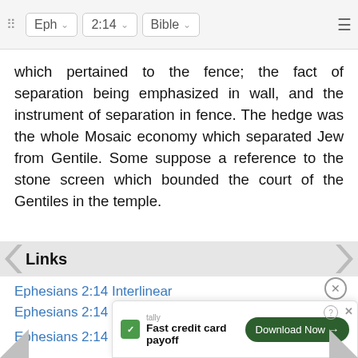Eph | 2:14 | Bible
which pertained to the fence; the fact of separation being emphasized in wall, and the instrument of separation in fence. The hedge was the whole Mosaic economy which separated Jew from Gentile. Some suppose a reference to the stone screen which bounded the court of the Gentiles in the temple.
Links
Ephesians 2:14 Interlinear
Ephesians 2:14 Parallel Texts
Ephesians 2:14 NIV
Ephesians 2:14 NLT
Ephesians 2:14 ESV
Ephe...
Ephe...
[Figure (screenshot): Tally app advertisement banner: 'Fast credit card payoff' with Download Now button]